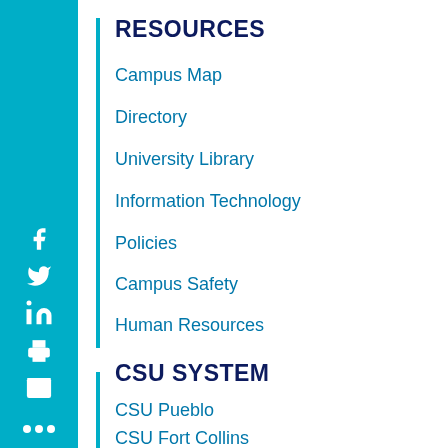RESOURCES
Campus Map
Directory
University Library
Information Technology
Policies
Campus Safety
Human Resources
CSU SYSTEM
CSU Pueblo
CSU Fort Collins